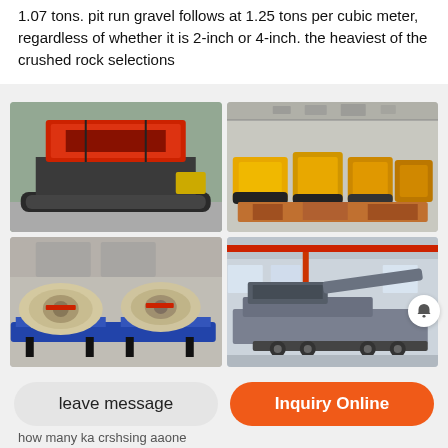1.07 tons. pit run gravel follows at 1.25 tons per cubic meter, regardless of whether it is 2-inch or 4-inch. the heaviest of the crushed rock selections
[Figure (photo): Mobile jaw crusher with red/dark grey body mounted on tracked undercarriage, outdoors in yard]
[Figure (photo): Multiple yellow tracked crushing/screening machines stored inside a warehouse facility]
[Figure (photo): Beige/cream colored jaw crusher units on blue steel frames, parked in a factory or storage area]
[Figure (photo): Large grey mobile crushing plant on semi-trailer inside a factory/workshop building with red overhead crane]
how many ka crshsing aaone